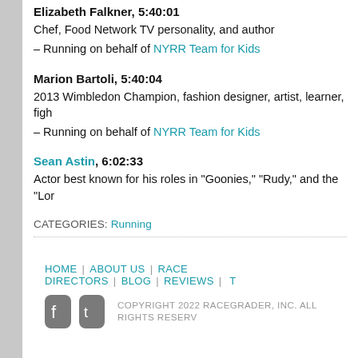Elizabeth Falkner, 5:40:01
Chef, Food Network TV personality, and author
– Running on behalf of NYRR Team for Kids
Marion Bartoli, 5:40:04
2013 Wimbledon Champion, fashion designer, artist, learner, figh
– Running on behalf of NYRR Team for Kids
Sean Astin, 6:02:33
Actor best known for his roles in "Goonies," "Rudy," and the "Lor
CATEGORIES: Running
HOME | ABOUT US | RACE DIRECTORS | BLOG | REVIEWS | T
COPYRIGHT 2022 RACEGRADER, INC. ALL RIGHTS RESERV